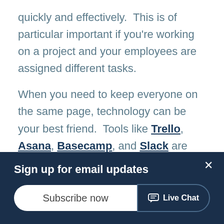quickly and effectively.  This is of particular important if you're working on a project and your employees are assigned different tasks.
When you need to keep everyone on the same page, technology can be your best friend.  Tools like Trello, Asana, Basecamp, and Slack are some examples of apps that make it easier to connect with employees. By taking out the hassle of collaborating, your business can get more done. Which, in turn, keeps you from struggling
Sign up for email updates
Subscribe now
Live Chat